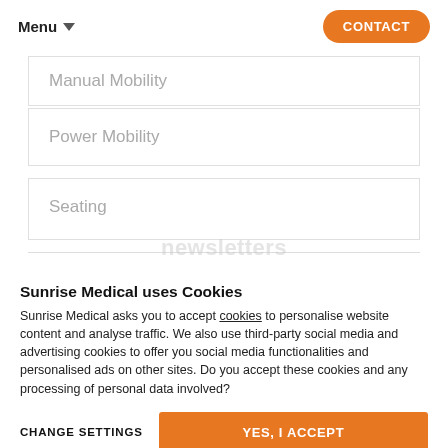Menu | CONTACT
Manual Mobility
Power Mobility
Seating
Sunrise Medical uses Cookies
Sunrise Medical asks you to accept cookies to personalise website content and analyse traffic. We also use third-party social media and advertising cookies to offer you social media functionalities and personalised ads on other sites. Do you accept these cookies and any processing of personal data involved?
CHANGE SETTINGS
YES, I ACCEPT